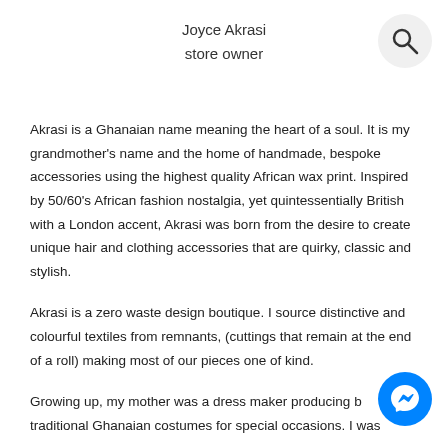Joyce Akrasi
store owner
Akrasi is a Ghanaian name meaning the heart of a soul. It is my grandmother's name and the home of handmade, bespoke accessories using the highest quality African wax print. Inspired by 50/60's African fashion nostalgia, yet quintessentially British with a London accent, Akrasi was born from the desire to create unique hair and clothing accessories that are quirky, classic and stylish.
Akrasi is a zero waste design boutique. I source distinctive and colourful textiles from remnants, (cuttings that remain at the end of a roll) making most of our pieces one of kind.
Growing up, my mother was a dress maker producing beautiful traditional Ghanaian costumes for special occasions. I was